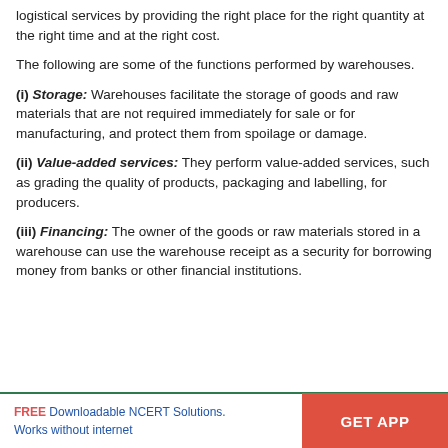logistical services by providing the right place for the right quantity at the right time and at the right cost.
The following are some of the functions performed by warehouses.
(i) Storage: Warehouses facilitate the storage of goods and raw materials that are not required immediately for sale or for manufacturing, and protect them from spoilage or damage.
(ii) Value-added services: They perform value-added services, such as grading the quality of products, packaging and labelling, for producers.
(iii) Financing: The owner of the goods or raw materials stored in a warehouse can use the warehouse receipt as a security for borrowing money from banks or other financial institutions.
FREE Downloadable NCERT Solutions. Works without internet | GET APP